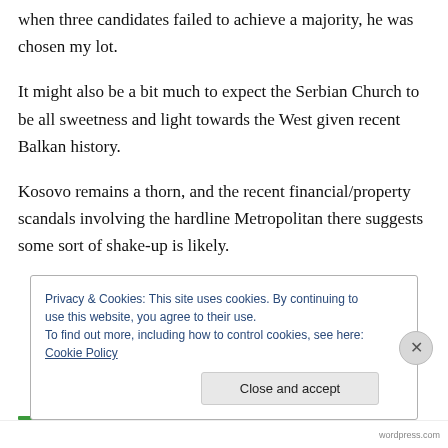when three candidates failed to achieve a majority, he was chosen my lot.
It might also be a bit much to expect the Serbian Church to be all sweetness and light towards the West given recent Balkan history.
Kosovo remains a thorn, and the recent financial/property scandals involving the hardline Metropolitan there suggests some sort of shake-up is likely.
Privacy & Cookies: This site uses cookies. By continuing to use this website, you agree to their use.
To find out more, including how to control cookies, see here: Cookie Policy
wordpress.com